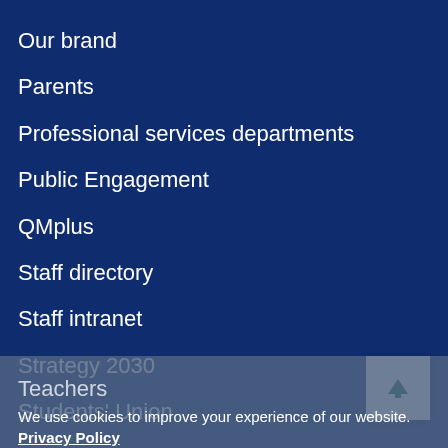Our brand
Parents
Professional services departments
Public Engagement
QMplus
Staff directory
Staff intranet
Strategy 2030
Students' Union
Teachers
We use cookies to improve your experience of our website. Privacy Policy